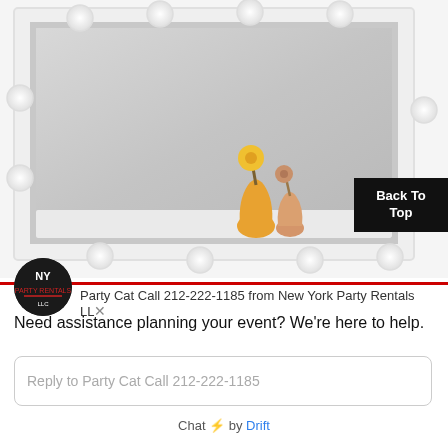[Figure (photo): Hollywood-style vanity mirror with round bulbs around the frame, reflecting two vases with yellow flowers on a white shelf. Partially visible 'Back To Top' button in upper right.]
Party Cat Call 212-222-1185 from New York Party Rentals LLC
Need assistance planning your event? We're here to help.
Reply to Party Cat Call 212-222-1185
Chat ⚡ by Drift